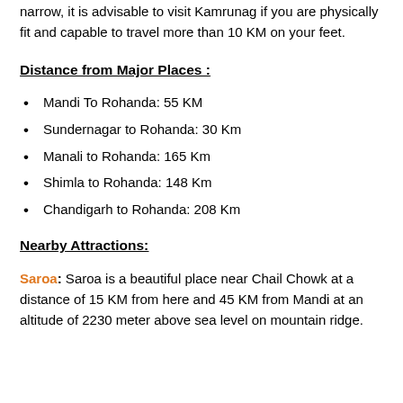narrow, it is advisable to visit Kamrunag if you are physically fit and capable to travel more than 10 KM on your feet.
Distance from Major Places :
Mandi To Rohanda: 55 KM
Sundernagar to Rohanda: 30 Km
Manali to Rohanda: 165 Km
Shimla to Rohanda: 148 Km
Chandigarh to Rohanda: 208 Km
Nearby Attractions:
Saroa: Saroa is a beautiful place near Chail Chowk at a distance of 15 KM from here and 45 KM from Mandi at an altitude of 2230 meter above sea level on mountain ridge.